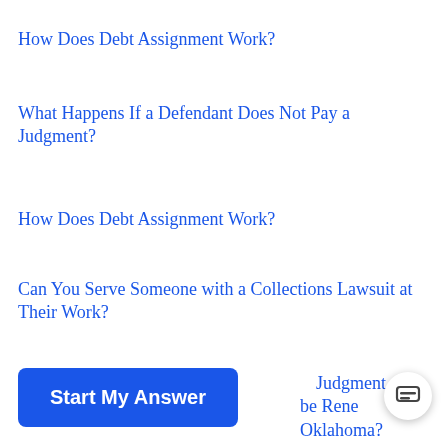How Does Debt Assignment Work?
What Happens If a Defendant Does Not Pay a Judgment?
How Does Debt Assignment Work?
Can You Serve Someone with a Collections Lawsuit at Their Work?
What Is a Warrant in Debt?
Start My Answer
...Judgment be Rene Oklahoma?